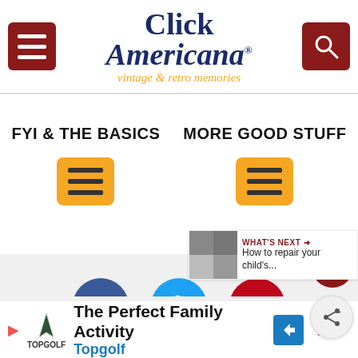Click Americana - vintage & retro memories
FYI & THE BASICS
MORE GOOD STUFF
[Figure (screenshot): Navigation menu buttons (hamburger icons) in gold/amber color for FYI & THE BASICS and MORE GOOD STUFF sections]
[Figure (infographic): Social share buttons: Facebook (blue circle with f), Twitter (light blue circle with bird), Pinterest (red circle with P)]
ClickAmericana.com is made with ★ and ♥ by
[Figure (screenshot): WHAT'S NEXT → How to repair your child's...]
[Figure (screenshot): Advertisement: The Perfect Family Activity - Topgolf]